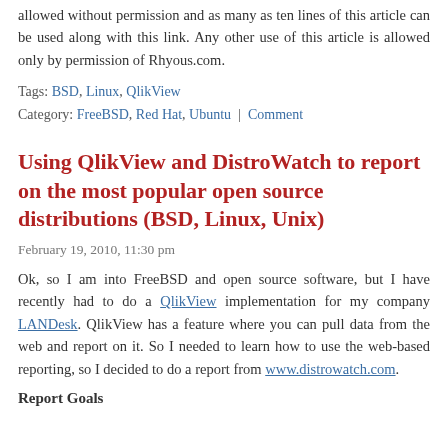allowed without permission and as many as ten lines of this article can be used along with this link. Any other use of this article is allowed only by permission of Rhyous.com.
Tags: BSD, Linux, QlikView
Category: FreeBSD, Red Hat, Ubuntu | Comment
Using QlikView and DistroWatch to report on the most popular open source distributions (BSD, Linux, Unix)
February 19, 2010, 11:30 pm
Ok, so I am into FreeBSD and open source software, but I have recently had to do a QlikView implementation for my company LANDesk. QlikView has a feature where you can pull data from the web and report on it. So I needed to learn how to use the web-based reporting, so I decided to do a report from www.distrowatch.com.
Report Goals